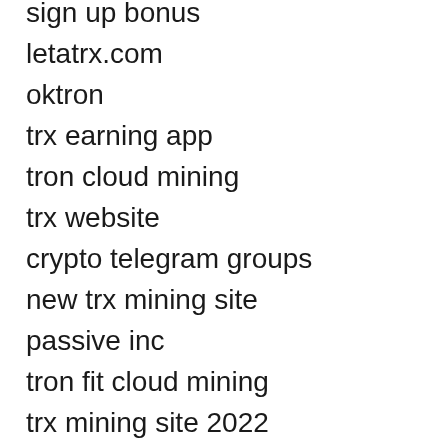sign up bonus
letatrx.com
oktron
trx earning app
tron cloud mining
trx website
crypto telegram groups
new trx mining site
passive inc
tron fit cloud mining
trx mining site 2022
trx site
trx tron
trxmining
best trx mining site
best trx mining site 2022